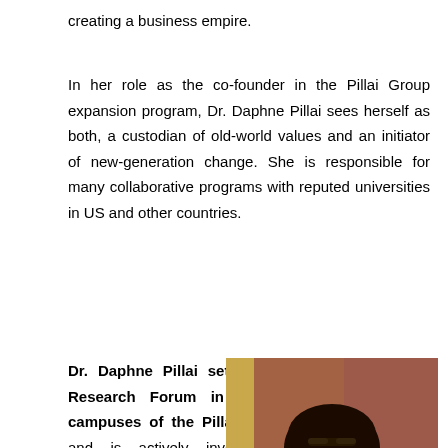creating a business empire.
In her role as the co-founder in the Pillai Group expansion program, Dr. Daphne Pillai sees herself as both, a custodian of old-world values and an initiator of new-generation change. She is responsible for many collaborative programs with reputed universities in US and other countries.
Dr. Daphne Pillai set up the Research Forum in several campuses of the Pillai Group and is actively involved in implementing curriculum and policy
[Figure (photo): Portrait photo of Dr. Daphne Pillai, a woman with dark hair, wearing a purple blazer and scarf, looking slightly to the side. Background shows red/yellow colors.]